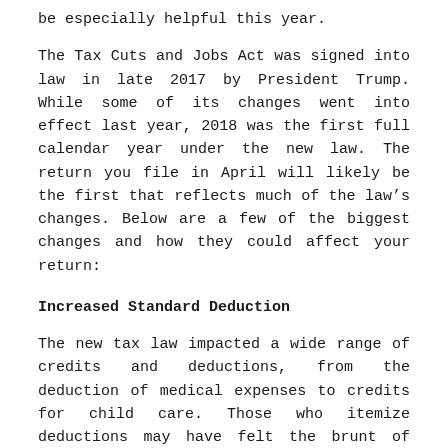be especially helpful this year.
The Tax Cuts and Jobs Act was signed into law in late 2017 by President Trump. While some of its changes went into effect last year, 2018 was the first full calendar year under the new law. The return you file in April will likely be the first that reflects much of the law’s changes. Below are a few of the biggest changes and how they could affect your return:
Increased Standard Deduction
The new tax law impacted a wide range of credits and deductions, from the deduction of medical expenses to credits for child care. Those who itemize deductions may have felt the brunt of these changes.
However, the tax law significantly increased the